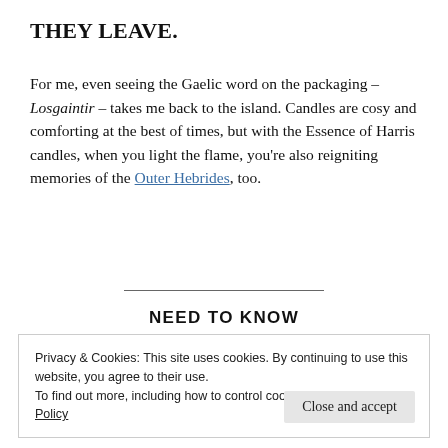THEY LEAVE.
For me, even seeing the Gaelic word on the packaging – Losgaintir – takes me back to the island. Candles are cosy and comforting at the best of times, but with the Essence of Harris candles, when you light the flame, you're also reigniting memories of the Outer Hebrides, too.
NEED TO KNOW
Privacy & Cookies: This site uses cookies. By continuing to use this website, you agree to their use.
To find out more, including how to control cookies, see here: Cookie Policy